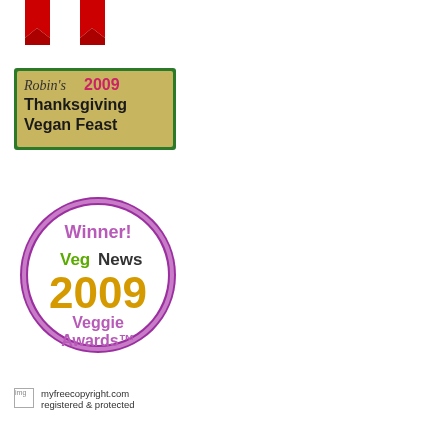[Figure (illustration): Two red ribbon award icons partially visible at the top left of the page]
[Figure (logo): Robin's 2009 Thanksgiving Vegan Feast badge with green border and gold/olive background]
[Figure (logo): VegNews 2009 Veggie Awards Winner badge - circular badge with purple border, white background, purple and orange text]
myfreecopyright.com registered & protected